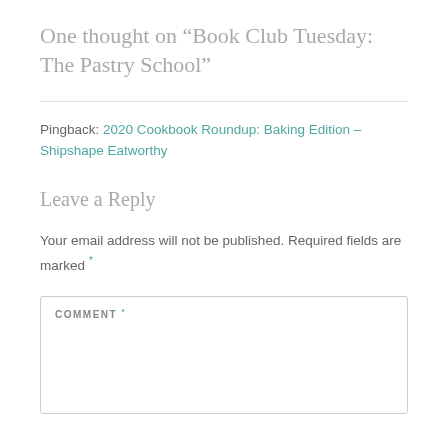One thought on “Book Club Tuesday: The Pastry School”
Pingback: 2020 Cookbook Roundup: Baking Edition – Shipshape Eatworthy
Leave a Reply
Your email address will not be published. Required fields are marked *
COMMENT *